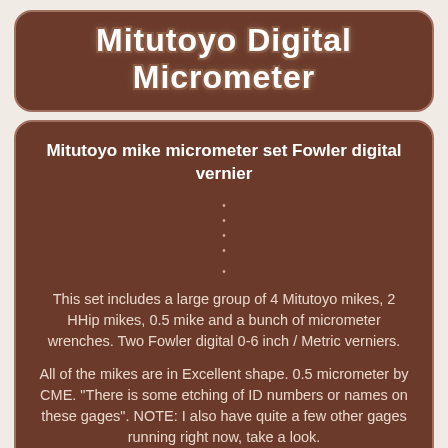Mitutoyo Digital Micrometer
Mitutoyo mike micrometer set Fowler digital vernier
This set includes a large group of 4 Mitutoyo mikes, 2 HHip mikes, 0.5 mike and a bunch of micrometer wrenches. Two Fowler digital 0-6 inch / Metric verniers.
All of the mikes are in Excellent shape. 0.5 micrometer by CME. "There is some etching of ID numbers or names on these gages". NOTE: I also have quite a few other gages running right now, take a look.
The item "Mitutoyo mike micrometer set Fowler digital